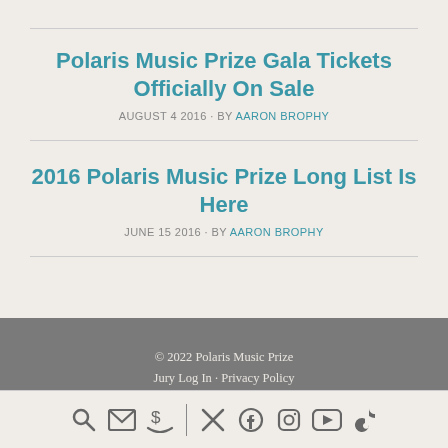Polaris Music Prize Gala Tickets Officially On Sale
AUGUST 4 2016 · BY AARON BROPHY
2016 Polaris Music Prize Long List Is Here
JUNE 15 2016 · BY AARON BROPHY
© 2022 Polaris Music Prize
Jury Log In · Privacy Policy
Site by Takeover
[Figure (other): Bottom navigation icon bar with search, email, donate, Twitter, Facebook, Instagram, YouTube, and TikTok icons]